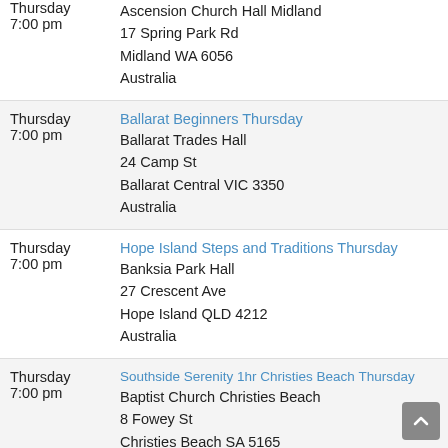| Day/Time | Meeting/Location |
| --- | --- |
| Thursday
7:00 pm | Midland Big Book Study Thursday
Ascension Church Hall Midland
17 Spring Park Rd
Midland WA 6056
Australia |
| Thursday
7:00 pm | Ballarat Beginners Thursday
Ballarat Trades Hall
24 Camp St
Ballarat Central VIC 3350
Australia |
| Thursday
7:00 pm | Hope Island Steps and Traditions Thursday
Banksia Park Hall
27 Crescent Ave
Hope Island QLD 4212
Australia |
| Thursday
7:00 pm | Southside Serenity 1hr Christies Beach Thursday
Baptist Church Christies Beach
8 Fowey St
Christies Beach SA 5165
Australia |